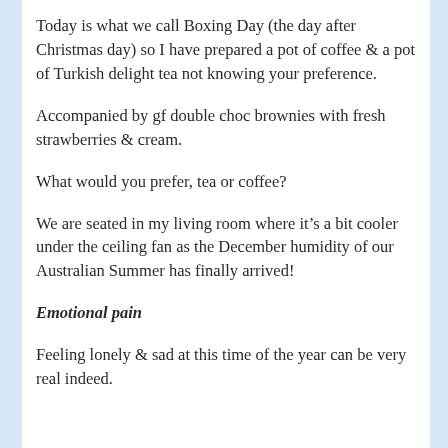Today is what we call Boxing Day (the day after Christmas day) so I have prepared a pot of coffee & a pot of Turkish delight tea not knowing your preference.
Accompanied by gf double choc brownies with fresh strawberries & cream.
What would you prefer, tea or coffee?
We are seated in my living room where it’s a bit cooler under the ceiling fan as the December humidity of our Australian Summer has finally arrived!
Emotional pain
Feeling lonely & sad at this time of the year can be very real indeed.